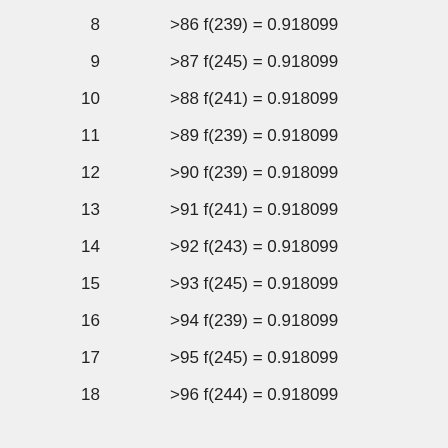8    >86 f(239) = 0.918099
9    >87 f(245) = 0.918099
10   >88 f(241) = 0.918099
11   >89 f(239) = 0.918099
12   >90 f(239) = 0.918099
13   >91 f(241) = 0.918099
14   >92 f(243) = 0.918099
15   >93 f(245) = 0.918099
16   >94 f(239) = 0.918099
17   >95 f(245) = 0.918099
18   >96 f(244) = 0.918099